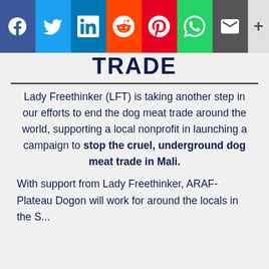[Figure (other): Social media share bar with Facebook, Twitter, LinkedIn, Reddit, Pinterest, WhatsApp, Email, and More buttons]
TRADE
Lady Freethinker (LFT) is taking another step in our efforts to end the dog meat trade around the world, supporting a local nonprofit in launching a campaign to stop the cruel, underground dog meat trade in Mali.
With support from Lady Freethinker, ARAF-Plateau Dogon will work for around the locals in the S...